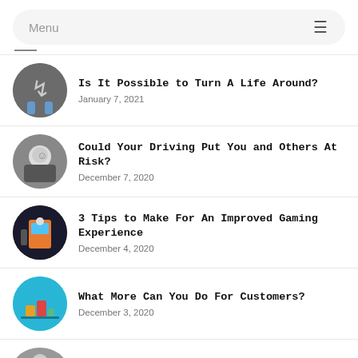Menu
Is It Possible to Turn A Life Around?
January 7, 2021
Could Your Driving Put You and Others At Risk?
December 7, 2020
3 Tips to Make For An Improved Gaming Experience
December 4, 2020
What More Can You Do For Customers?
December 3, 2020
3 Tips Before You Land Your Next Vehicle